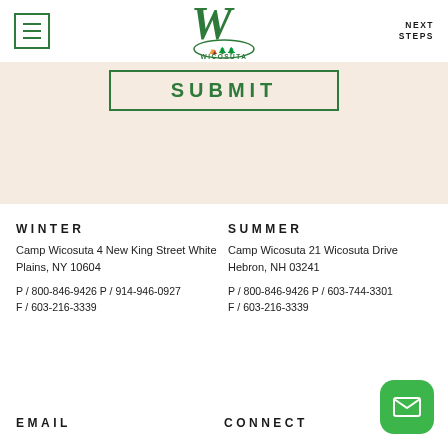Camp Wicosuta - Next Steps
[Figure (logo): Camp Wicosuta logo with stylized W and oval badge]
SUBMIT
WINTER
Camp Wicosuta 4 New King Street White Plains, NY 10604
P / 800-846-9426 P / 914-946-0927
F / 603-216-3339
SUMMER
Camp Wicosuta 21 Wicosuta Drive Hebron, NH 03241
P / 800-846-9426 P / 603-744-3301
F / 603-216-3339
EMAIL
CONNECT